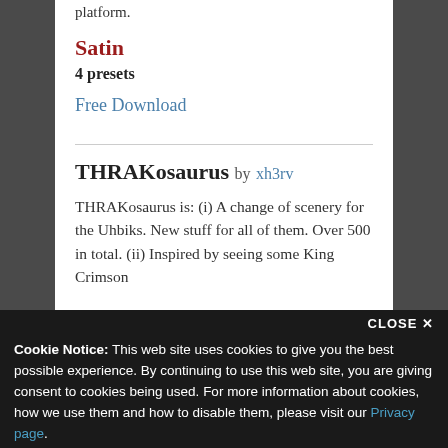platform.
Satin
4 presets
Free Download
THRAKosaurus by xh3rv
THRAKosaurus is: (i) A change of scenery for the Uhbiks. New stuff for all of them. Over 500 in total. (ii) Inspired by seeing some King Crimson
Cookie Notice: This web site uses cookies to give you the best possible experience. By continuing to use this web site, you are giving consent to cookies being used. For more information about cookies, how we use them and how to disable them, please visit our Privacy page.